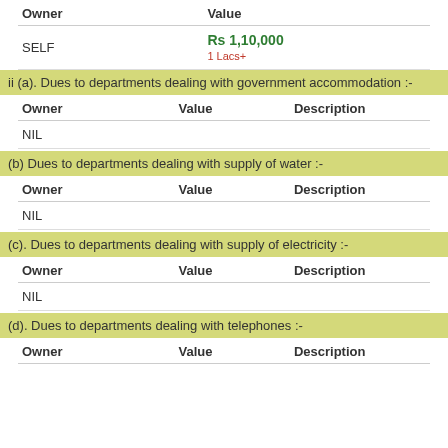| Owner | Value |
| --- | --- |
| SELF | Rs 1,10,000
1 Lacs+ |
ii (a). Dues to departments dealing with government accommodation :-
| Owner | Value | Description |
| --- | --- | --- |
| NIL |  |  |
(b) Dues to departments dealing with supply of water :-
| Owner | Value | Description |
| --- | --- | --- |
| NIL |  |  |
(c). Dues to departments dealing with supply of electricity :-
| Owner | Value | Description |
| --- | --- | --- |
| NIL |  |  |
(d). Dues to departments dealing with telephones :-
| Owner | Value | Description |
| --- | --- | --- |